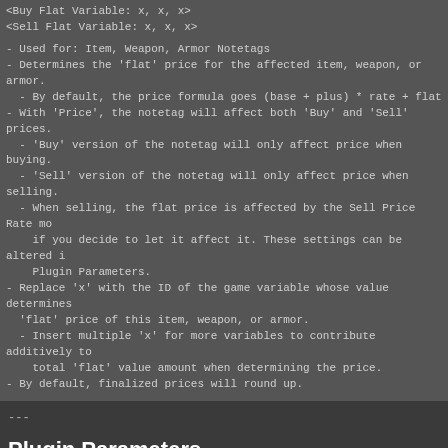<Buy Flat Variable: x, x, x>
<Sell Flat Variable: x, x, x>
- Used for: Item, Weapon, Armor Notetags
- Determines the 'flat' price for the affected item, weapon, or armor.
- By default, the price formula goes (base + plus) * rate + flat
- With 'Price', the notetag will affect both 'Buy' and 'Sell' prices.
- 'Buy' version of the notetag will only affect price when buying.
- 'Sell' version of the notetag will only affect price when selling.
- When selling, the flat price is affected by the Sell Price Rate mo if you decide to let it affect it. These settings can be altered i Plugin Parameters.
- Replace 'x' with the ID of the game variable whose value determines 'flat' price of this item, weapon, or armor.
- Insert multiple 'x' for more variables to contribute additively to total 'flat' value amount when determining the price.
- By default, finalized prices will round up.
---
Plugin Parameters
General Settings
| Parameter | Value |
| --- | --- |
| - Sell Rates |  |
|   Base Price Affected? | true |
|   Plus Price Affected? | true |
|   Rate Price Affected? | false |